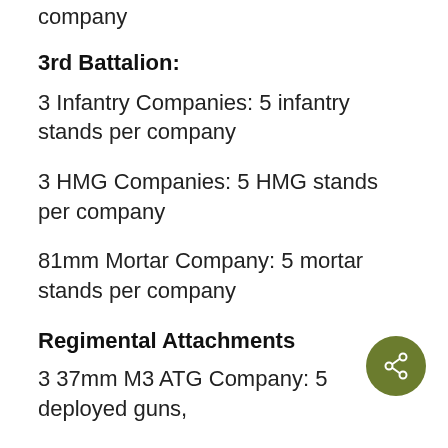company
3rd Battalion:
3 Infantry Companies: 5 infantry stands per company
3 HMG Companies: 5 HMG stands per company
81mm Mortar Company: 5 mortar stands per company
Regimental Attachments
3 37mm M3 ATG Company: 5 deployed guns,